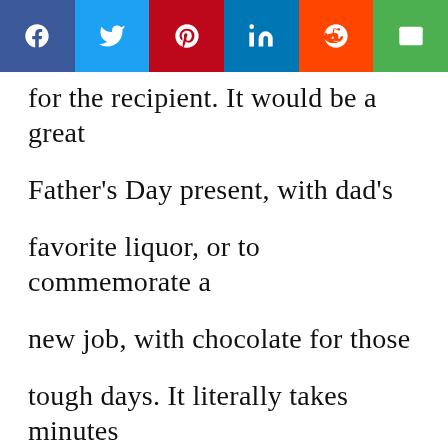[Figure (other): Social sharing bar with icons for Facebook, Twitter, Pinterest, LinkedIn, Reddit, and Email]
for the recipient. It would be a great Father's Day present, with dad's favorite liquor, or to commemorate a new job, with chocolate for those tough days. It literally takes minutes to make, and will be sure to make the